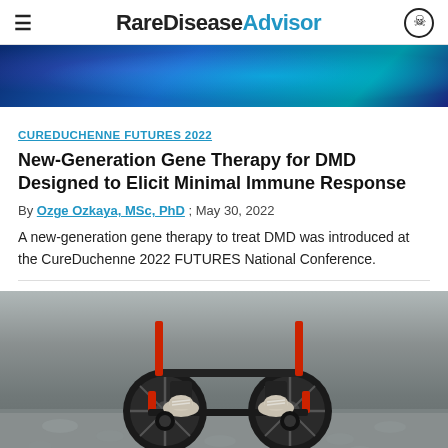RareDisease Advisor
[Figure (photo): Abstract blue glowing background image at top of article]
CUREDUCHENNE FUTURES 2022
New-Generation Gene Therapy for DMD Designed to Elicit Minimal Immune Response
By Ozge Ozkaya, MSc, PhD ; May 30, 2022
A new-generation gene therapy to treat DMD was introduced at the CureDuchenne 2022 FUTURES National Conference.
[Figure (photo): Close-up photo of a child in a wheelchair viewed from behind, showing wheels, footrests, and sneakers on a stone/gravel surface]